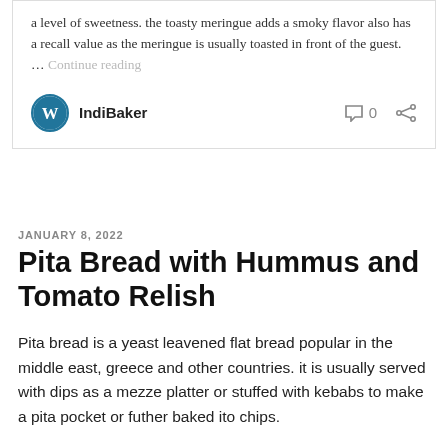a level of sweetness. the toasty meringue adds a smoky flavor also has a recall value as the meringue is usually toasted in front of the guest. … Continue reading
IndiBaker
0
JANUARY 8, 2022
Pita Bread with Hummus and Tomato Relish
Pita bread is a yeast leavened flat bread popular in the middle east, greece and other countries. it is usually served with dips as a mezze platter or stuffed with kebabs to make a pita pocket or futher baked ito chips.